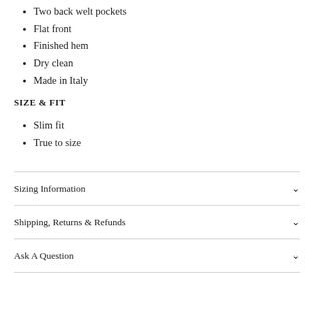Two back welt pockets
Flat front
Finished hem
Dry clean
Made in Italy
SIZE & FIT
Slim fit
True to size
Sizing Information
Shipping, Returns & Refunds
Ask A Question